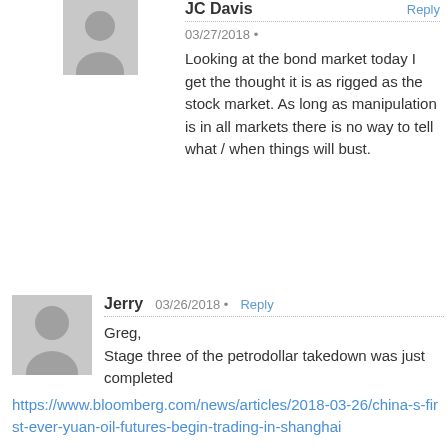JC Davis   Reply
03/27/2018 •
Looking at the bond market today I get the thought it is as rigged as the stock market. As long as manipulation is in all markets there is no way to tell what / when things will bust.
Jerry   03/26/2018 •   Reply
Greg,
Stage three of the petrodollar takedown was just completed
https://www.bloomberg.com/news/articles/2018-03-26/china-s-first-ever-yuan-oil-futures-begin-trading-in-shanghai

Now let's talk about how long the dollar retains its